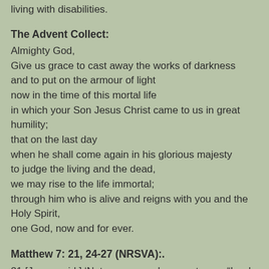living with disabilities.
The Advent Collect:
Almighty God,
Give us grace to cast away the works of darkness
and to put on the armour of light
now in the time of this mortal life
in which your Son Jesus Christ came to us in great humility;
that on the last day
when he shall come again in his glorious majesty
to judge the living and the dead,
we may rise to the life immortal;
through him who is alive and reigns with you and the Holy Spirit,
one God, now and for ever.
Matthew 7: 21, 24-27 (NRSVA):.
21 [Jesus said:] ‘Not everyone who says to me, “Lord, Lord”, will enter the kingdom of heaven, but only one who does the will of my Father in heaven.